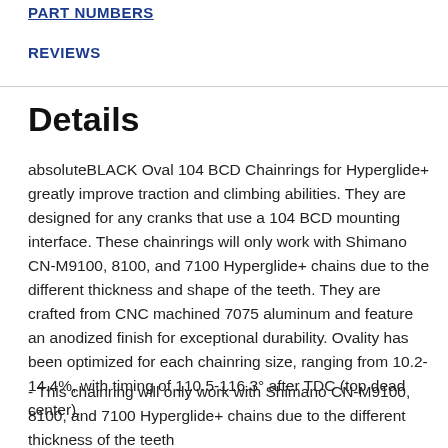PART NUMBERS
REVIEWS
Details
absoluteBLACK Oval 104 BCD Chainrings for Hyperglide+ greatly improve traction and climbing abilities. They are designed for any cranks that use a 104 BCD mounting interface. These chainrings will only work with Shimano CN-M9100, 8100, and 7100 Hyperglide+ chains due to the different thickness and shape of the teeth. They are crafted from CNC machined 7075 aluminum and feature an anodized finish for exceptional durability. Ovality has been optimized for each chainring size, ranging from 10.2-14.4%, with timing of 110.5-116.3° after TDC (top dead center).
- This chainring will only work with Shimano CN-M9100, 8100, and 7100 Hyperglide+ chains due to the different thickness of the teeth